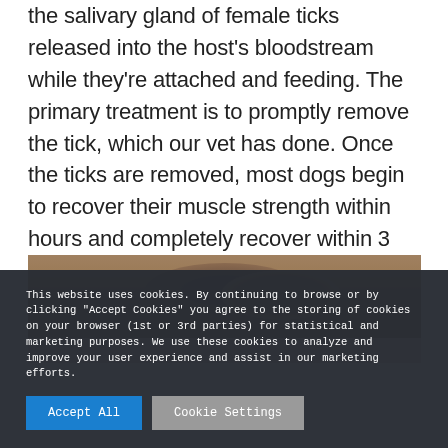the salivary gland of female ticks released into the host's bloodstream while they're attached and feeding. The primary treatment is to promptly remove the tick, which our vet has done. Once the ticks are removed, most dogs begin to recover their muscle strength within hours and completely recover within 3 days.
[Figure (photo): Photo of a brown dog lying down, partially visible, against a light-colored wall background]
This website uses cookies. By continuing to browse or by clicking "Accept Cookies" you agree to the storing of cookies on your browser (1st or 3rd parties) for statistical and marketing purposes. We use these cookies to analyze and improve your user experience and assist in our marketing efforts.